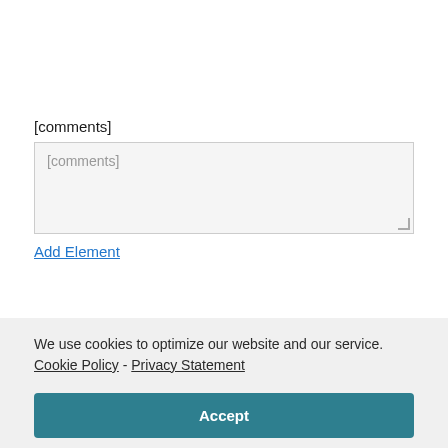[comments]
[Figure (screenshot): A textarea input field with placeholder text '[comments]' on a light gray background with a resize handle in the bottom-right corner]
Add Element
We use cookies to optimize our website and our service.  Cookie Policy -  Privacy Statement
Accept